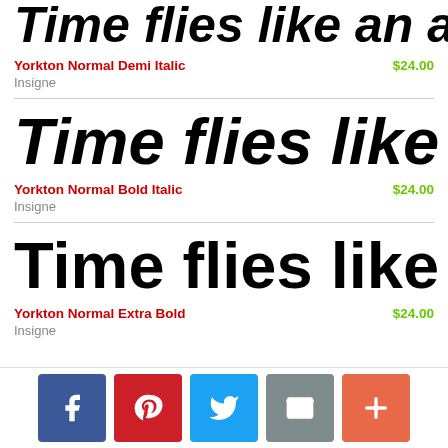[Figure (illustration): Large italic bold font preview showing 'Time flies like an a' in Yorkton Normal Demi Italic, cropped at right edge]
Yorkton Normal Demi Italic
$24.00
Insigne
[Figure (illustration): Large italic bold font preview showing 'Time flies like an a' in Yorkton Normal Bold Italic, cropped at right edge]
Yorkton Normal Bold Italic
$24.00
Insigne
[Figure (illustration): Large extra bold font preview showing 'Time flies like an a' in Yorkton Normal Extra Bold, cropped at right edge]
Yorkton Normal Extra Bold
$24.00
Insigne
[Figure (infographic): Social sharing bar with Facebook, Pinterest, Twitter, Email, and More buttons]